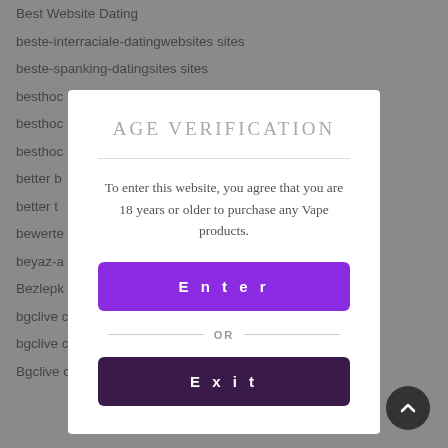Best Website Dating
beste-interraciale-datingwebsites sites
beste-spanking-datingsites sites
besthoo...
besthoo...
besthoo...
better b...
better t...
bewerte...
beyaz-a...
Bezlepk...
bgclive c...
bgclive c...
Bgclive c...
AGE VERIFICATION
To enter this website, you agree that you are 18 years or older to purchase any Vape products.
Enter
OR
Exit